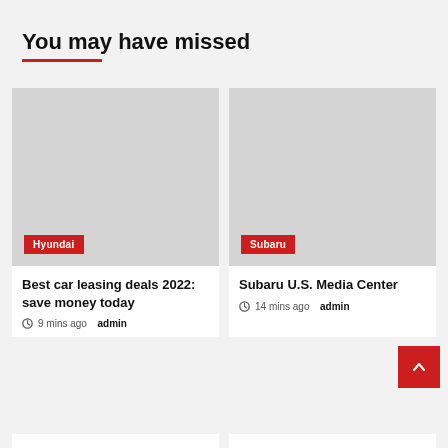You may have missed
[Figure (photo): Placeholder grey image card with Hyundai category badge]
Best car leasing deals 2022: save money today
9 mins ago  admin
[Figure (photo): Placeholder grey image card with Subaru category badge]
Subaru U.S. Media Center
14 mins ago  admin